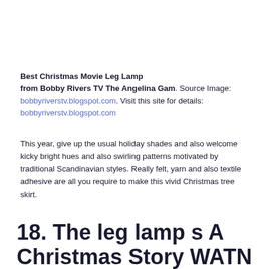Best Christmas Movie Leg Lamp
from Bobby Rivers TV The Angelina Gam. Source Image: bobbyriverstv.blogspot.com. Visit this site for details: bobbyriverstv.blogspot.com
This year, give up the usual holiday shades and also welcome kicky bright hues and also swirling patterns motivated by traditional Scandinavian styles. Really felt, yarn and also textile adhesive are all you require to make this vivid Christmas tree skirt.
18. The leg lamp s A Christmas Story WATN NY